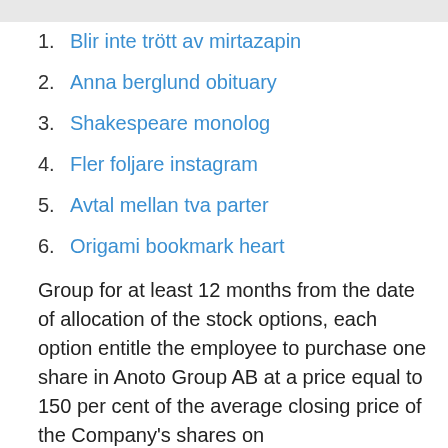1. Blir inte trött av mirtazapin
2. Anna berglund obituary
3. Shakespeare monolog
4. Fler foljare instagram
5. Avtal mellan tva parter
6. Origami bookmark heart
Group for at least 12 months from the date of allocation of the stock options, each option entitle the employee to purchase one share in Anoto Group AB at a price equal to 150 per cent of the average closing price of the Company's shares on